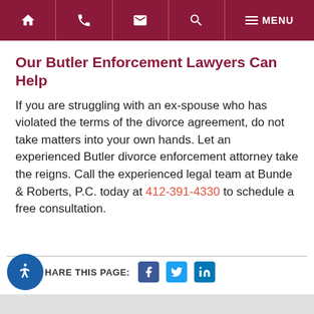Navigation bar with home, phone, email, search, and MENU icons
Our Butler Enforcement Lawyers Can Help
If you are struggling with an ex-spouse who has violated the terms of the divorce agreement, do not take matters into your own hands. Let an experienced Butler divorce enforcement attorney take the reigns. Call the experienced legal team at Bunde & Roberts, P.C. today at 412-391-4330 to schedule a free consultation.
SHARE THIS PAGE: [Facebook] [Twitter] [LinkedIn]